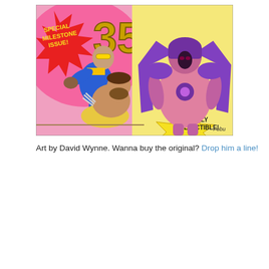[Figure (illustration): Comic book style illustration labeled 'Special Milestone Issue!' showing three superhero characters. A blue-costumed hero punches a bearded figure in yellow pants, while a large pink and purple armored villain stands in the background. Large '350' text and 'Highly Collectible!' starburst appear. Art by David Wynne.]
Art by David Wynne. Wanna buy the original? Drop him a line!